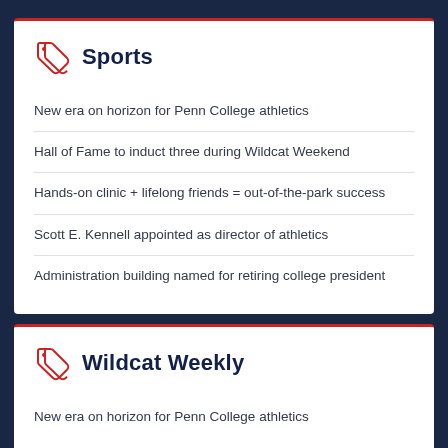Sports
New era on horizon for Penn College athletics
Hall of Fame to induct three during Wildcat Weekend
Hands-on clinic + lifelong friends = out-of-the-park success
Scott E. Kennell appointed as director of athletics
Administration building named for retiring college president
Wildcat Weekly
New era on horizon for Penn College athletics